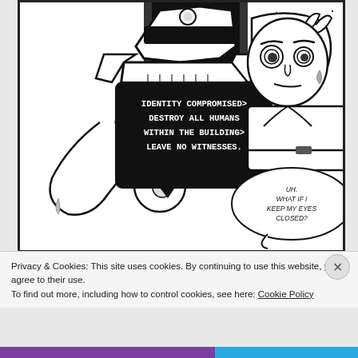[Figure (illustration): Black and white comic panel showing a large robot/mech with a dark speech bubble reading 'IDENTITY COMPROMISED> DESTROY ALL HUMANS WITHIN THE BUILDING> LEAVE NO WITNESSES.' and a human character with a speech bubble saying 'UH. WHAT IF I KEEP MY EYES CLOSED?']
Privacy & Cookies: This site uses cookies. By continuing to use this website, you agree to their use.
To find out more, including how to control cookies, see here: Cookie Policy
Close and accept